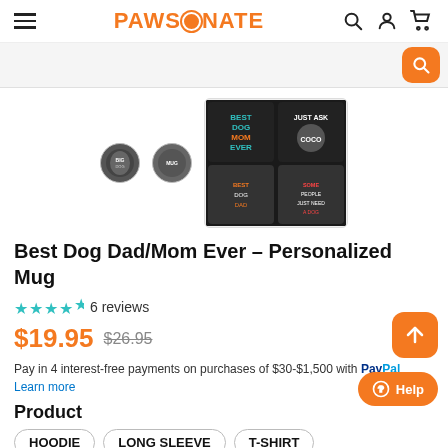PAWSIONATE
[Figure (screenshot): Product thumbnail images showing Best Dog Mom Ever mugs on black background]
Best Dog Dad/Mom Ever - Personalized Mug
4.5 stars  6 reviews
$19.95  $26.95
Pay in 4 interest-free payments on purchases of $30-$1,500 with PayPal. Learn more
Product
HOODIE
LONG SLEEVE
T-SHIRT